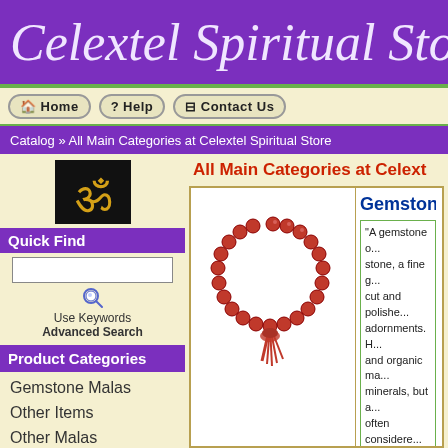Celextel Spiritual Stor
Home
Help
Contact Us
Catalog » All Main Categories at Celextel Spiritual Store
[Figure (logo): Om symbol in gold on black background]
Quick Find
Use Keywords
Advanced Search
Product Categories
Gemstone Malas
Other Items
Other Malas
Rudraksha Beads
Rudraksha Malas
All Main Categories at Celext
[Figure (photo): Red gemstone mala beads with red tassel arranged in circular shape]
Gemstone M
"A gemstone or gem (also called a precious or semi-precious stone, a fine gem, jewel, or a gemstone) is a piece of mineral cut and polished to make jewelry or other human adornments. H... and organic ma... minerals, but a... often considere... are hard, but s... of their lustre c... value. Rarity is... gemstone."